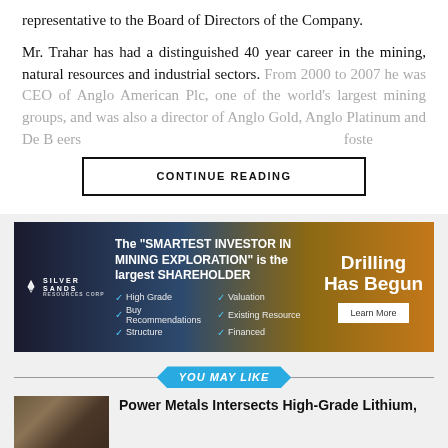representative to the Board of Directors of the Company.
Mr. Trahar has had a distinguished 40 year career in the mining, natural resources and industrial sectors. From 2000 to 2007 he was CEO of Anglo American Plc, one of the world's largest mining groups, and was also a director of Anglo Gold, Anglo Platinum and De Beers ... [continues]
[Figure (other): Silver Sands advertisement banner: 'The SMARTEST INVESTOR IN MINING EXPLORATION is the largest SHAREHOLDER' with checkmarks for High Grade, Buy Recommendations, Structure, Valuation, Existing Resource, Financed. Right side: 'Drilling Has Begun' with a Learn More button.]
YOU MAY LIKE
Power Metals Intersects High-Grade Lithium, [continues]